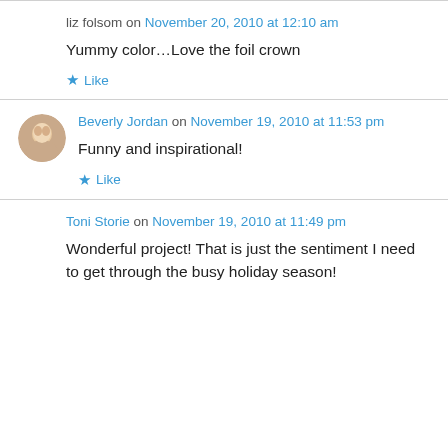liz folsom on November 20, 2010 at 12:10 am
Yummy color…Love the foil crown
Like
Beverly Jordan on November 19, 2010 at 11:53 pm
Funny and inspirational!
Like
Toni Storie on November 19, 2010 at 11:49 pm
Wonderful project! That is just the sentiment I need to get through the busy holiday season!